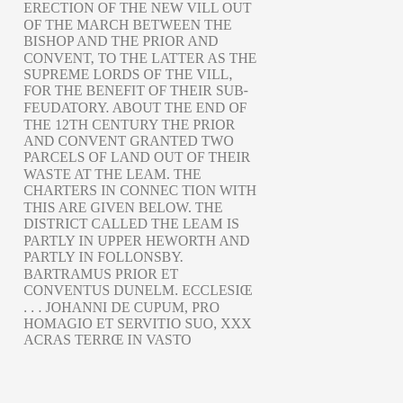ERECTION OF THE NEW VILL OUT OF THE MARCH BETWEEN THE BISHOP AND THE PRIOR AND CONVENT, TO THE LATTER AS THE SUPREME LORDS OF THE VILL, FOR THE BENEFIT OF THEIR SUB-FEUDATORY. ABOUT THE END OF THE 12TH CENTURY THE PRIOR AND CONVENT GRANTED TWO PARCELS OF LAND OUT OF THEIR WASTE AT THE LEAM. THE CHARTERS IN CONNEC TION WITH THIS ARE GIVEN BELOW. THE DISTRICT CALLED THE LEAM IS PARTLY IN UPPER HEWORTH AND PARTLY IN FOLLONSBY. BARTRAMUS PRIOR ET CONVENTUS DUNELM. ECCLESIŒ . . . JOHANNI DE CUPUM, PRO HOMAGIO ET SERVITIO SUO, XXX ACRAS TERRÆ IN VASTO